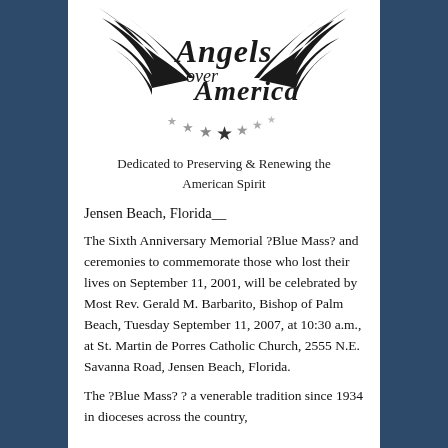[Figure (logo): Angels over America logo with black wings, stylized text 'Angels over America', and stars arranged in an arc below]
Dedicated to Preserving & Renewing the American Spirit
Jensen Beach, Florida__
The Sixth Anniversary Memorial ?Blue Mass? and ceremonies to commemorate those who lost their lives on September 11, 2001, will be celebrated by Most Rev. Gerald M. Barbarito, Bishop of Palm Beach, Tuesday September 11, 2007, at 10:30 a.m., at St. Martin de Porres Catholic Church, 2555 N.E. Savanna Road, Jensen Beach, Florida.
The ?Blue Mass? ? a venerable tradition since 1934 in dioceses across the country,